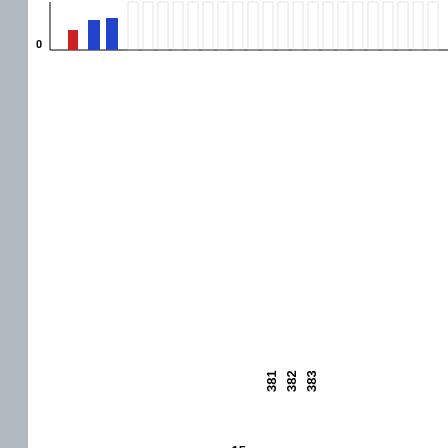[Figure (other): Partial view of a sequence logo or histogram chart at top, showing colored bars (red and blue) near position 0 on the y-axis, with many white/empty columns extending to the right. This is the top cropped portion of a weblogo/sequence conservation figure.]
[Figure (bar-chart): Small bar chart with 4 bars at approximately equal height (~15), x-axis shows positions 381, 382, 383. Y-axis shows 0 and 15.]
Weblogos are Copyright...
Please Cite: Peterson, T.A., Adadey, A., Santana-Cruz ,I., Sun, Y., Winder A...
DMDM_info@umbc.edu  |  1000 Hilltop Circle, B...